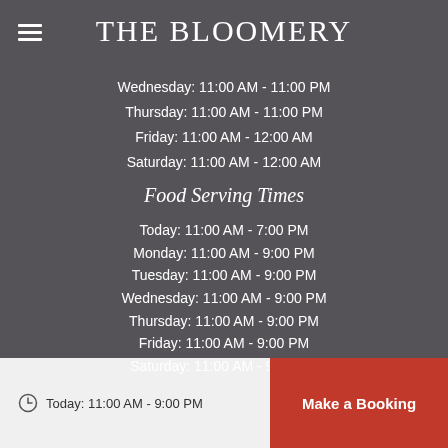THE BLOOMERY
Wednesday: 11:00 AM - 11:00 PM
Thursday: 11:00 AM - 11:00 PM
Friday: 11:00 AM - 12:00 AM
Saturday: 11:00 AM - 12:00 AM
Food Serving Times
Today: 11:00 AM - 7:00 PM
Monday: 11:00 AM - 9:00 PM
Tuesday: 11:00 AM - 9:00 PM
Wednesday: 11:00 AM - 9:00 PM
Thursday: 11:00 AM - 9:00 PM
Friday: 11:00 AM - 9:00 PM
Saturday: 11:00 AM - 9:00 PM
Today: 11:00 AM - 9:00 PM  Make a Booking